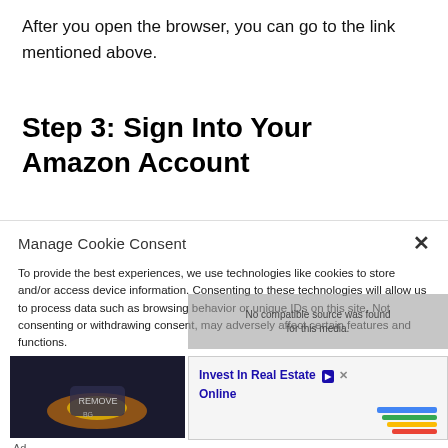After you open the browser, you can go to the link mentioned above.
Step 3: Sign Into Your Amazon Account
Manage Cookie Consent
To provide the best experiences, we use technologies like cookies to store and/or access device information. Consenting to these technologies will allow us to process data such as browsing behavior or unique IDs on this site. Not consenting or withdrawing consent, may adversely affect certain features and functions.
[Figure (screenshot): Ad image showing hands holding a glowing device, with text overlay 'No compatible source was found for this media.' and an ad for 'Invest In Real Estate Online']
Ad